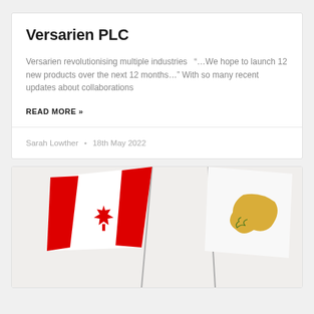Versarien PLC
Versarien revolutionising multiple industries “…We hope to launch 12 new products over the next 12 months…” With so many recent updates about collaborations
READ MORE »
Sarah Lowther • 18th May 2022
[Figure (photo): Two flags on poles against a light grey background: Canadian flag (red maple leaf on white and red) on the left, and Cyprus flag (gold map with olive branches on white) on the right.]